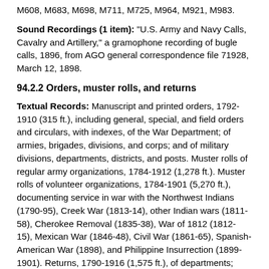M608, M683, M698, M711, M725, M964, M921, M983.
Sound Recordings (1 item): "U.S. Army and Navy Calls, Cavalry and Artillery," a gramophone recording of bugle calls, 1896, from AGO general correspondence file 71928, March 12, 1898.
94.2.2 Orders, muster rolls, and returns
Textual Records: Manuscript and printed orders, 1792-1910 (315 ft.), including general, special, and field orders and circulars, with indexes, of the War Department; of armies, brigades, divisions, and corps; and of military divisions, departments, districts, and posts. Muster rolls of regular army organizations, 1784-1912 (1,278 ft.). Muster rolls of volunteer organizations, 1784-1901 (5,270 ft.), documenting service in war with the Northwest Indians (1790-95), Creek War (1813-14), other Indian wars (1811-58), Cherokee Removal (1835-38), War of 1812 (1812-15), Mexican War (1846-48), Civil War (1861-65), Spanish-American War (1898), and Philippine Insurrection (1899-1901). Returns, 1790-1916 (1,575 ft.), of departments; territorial divisions,